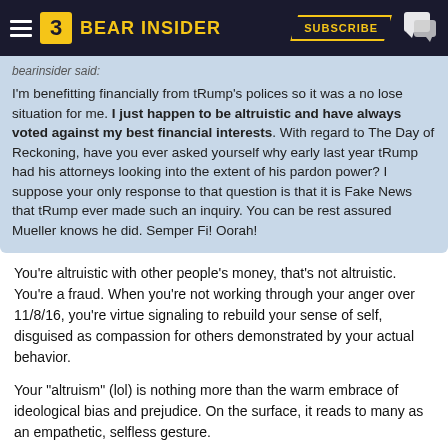Bear Insider — Subscribe
bearinsider said:
I'm benefitting financially from tRump's polices so it was a no lose situation for me. I just happen to be altruistic and have always voted against my best financial interests. With regard to The Day of Reckoning, have you ever asked yourself why early last year tRump had his attorneys looking into the extent of his pardon power? I suppose your only response to that question is that it is Fake News that tRump ever made such an inquiry. You can be rest assured Mueller knows he did. Semper Fi! Oorah!
You're altruistic with other people's money, that's not altruistic. You're a fraud. When you're not working through your anger over 11/8/16, you're virtue signaling to rebuild your sense of self, disguised as compassion for others demonstrated by your actual behavior.
Your "altruism" (lol) is nothing more than the warm embrace of ideological bias and prejudice. On the surface, it reads to many as an empathetic, selfless gesture.
I'm sure you're very concerned about executive power right now, but